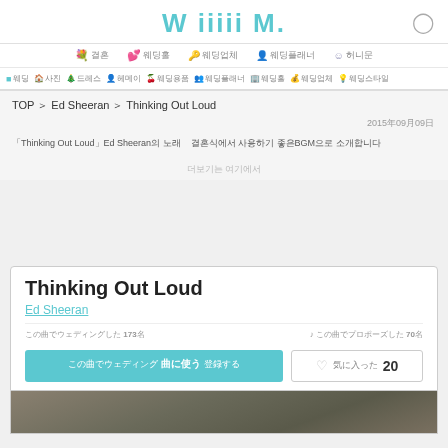WiiiiM
Navigation: 결혼 / 웨딩홀 / 웨딩업체 / 웨딩플래너 / 허니문
Sub navigation: 웨딩 / 사진 / 드레스 / 헤메이 / 웨딩용품 / 웨딩플래너 / 웨딩홀 / 웨딩업체 / 웨딩스타일
TOP ＞ Ed Sheeran ＞ Thinking Out Loud
2015년09월09일
「Thinking Out Loud」Ed Sheeran의 노래　결혼식에서 사용하기 좋은 BGM으로 소개합니다
더보기는 여기에서
Thinking Out Loud
Ed Sheeran
この曲でウェディングした 173名　　♪ この曲でプロポーズした 70名
この曲でウェディング 曲に使う 登録する　　♡ 気に入った 20